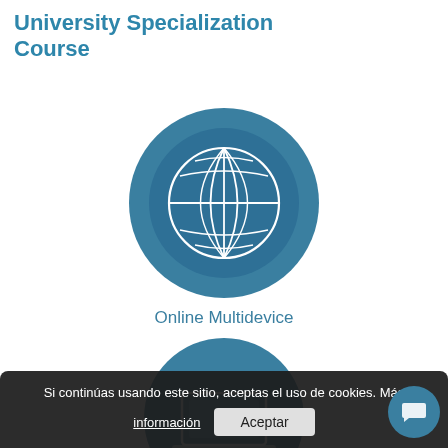University Specialization Course
[Figure (illustration): Globe icon — a white wireframe globe on a teal/steel-blue circular background, representing online/multidevice access]
Online Multidevice
[Figure (illustration): Partially visible second icon — another teal circle with a laptop/device illustration, partially cropped at bottom of page]
Si continúas usando este sitio, aceptas el uso de cookies. Más información
Aceptar